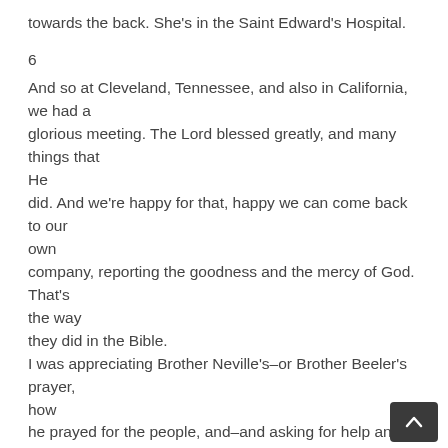towards the back. She's in the Saint Edward's Hospital.
6
And so at Cleveland, Tennessee, and also in California, we had a glorious meeting. The Lord blessed greatly, and many things that He did. And we're happy for that, happy we can come back to our own company, reporting the goodness and the mercy of God. That's the way they did in the Bible. I was appreciating Brother Neville's–or Brother Beeler's prayer, how he prayed for the people, and–and asking for help and mercy. And if we'll just look along, you always, everything that goes on, you'll find there's something real genuine about it. And then when Brother Neville come and brought these deacons and so forth up here to the